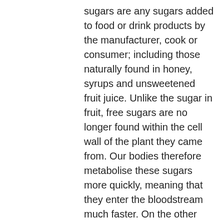sugars are any sugars added to food or drink products by the manufacturer, cook or consumer; including those naturally found in honey, syrups and unsweetened fruit juice. Unlike the sugar in fruit, free sugars are no longer found within the cell wall of the plant they came from. Our bodies therefore metabolise these sugars more quickly, meaning that they enter the bloodstream much faster. On the other hand, the sugars found in fruit are contained inside the cell structure of the fruit, which means that our bodies metabolise them more slowly and they take longer to enter the bloodstream. Fruit also contains fibre, which helps to slow the digestion and